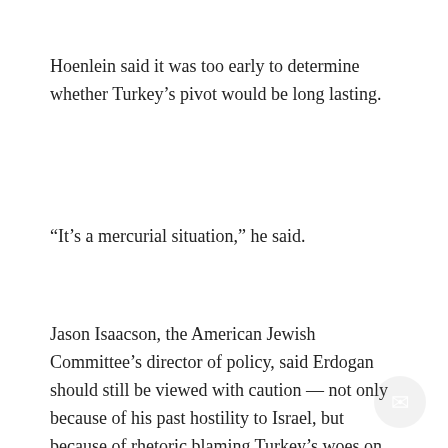Hoenlein said it was too early to determine whether Turkey’s pivot would be long lasting.
“It’s a mercurial situation,” he said.
Jason Isaacson, the American Jewish Committee’s director of policy, said Erdogan should still be viewed with caution — not only because of his past hostility to Israel, but because of rhetoric blaming Turkey’s woes on outside interests that has veered close to anti-Semitism.
PHILADELPHIA JEWISH EXPONENT IS HERE FOR YOU
Your voluntary contribution supports our efforts to deliver content that engages and helps strengthen the Jewish community in the Philadelphia area.
CONTRIBUTE
“Given the proclivities, continuing behavior of Turkey, given his recent statements conflating Israel with antisemitism, and the connection he has alleged between the Jewish people and unrelated political issues in Turkey, [restoring ties with Turkey] cannot substitute for the relationship Israel enjoys with...